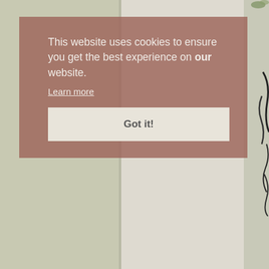[Figure (illustration): Background with multi-column aged paper/parchment tones and partial decorative illustration on the right edge showing botanical/organic elements and an ornate letter or figure in black and white]
This website uses cookies to ensure you get the best experience on our website.
Learn more
Got it!